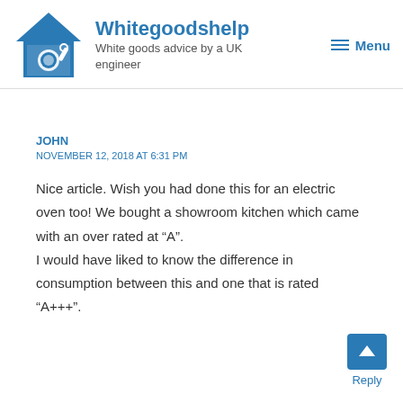Whitegoodshelp — White goods advice by a UK engineer
JOHN
NOVEMBER 12, 2018 AT 6:31 PM
Nice article. Wish you had done this for an electric oven too! We bought a showroom kitchen which came with an over rated at “A”.
I would have liked to know the difference in consumption between this and one that is rated “A+++”.